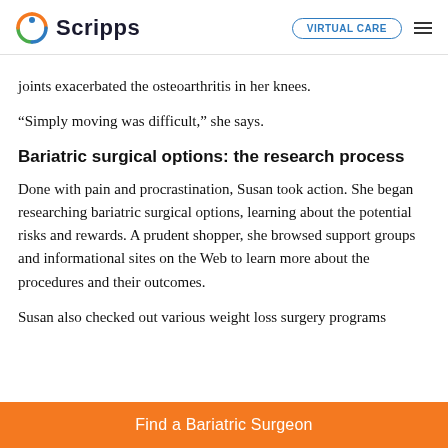Scripps | VIRTUAL CARE
joints exacerbated the osteoarthritis in her knees.
“Simply moving was difficult,” she says.
Bariatric surgical options: the research process
Done with pain and procrastination, Susan took action. She began researching bariatric surgical options, learning about the potential risks and rewards. A prudent shopper, she browsed support groups and informational sites on the Web to learn more about the procedures and their outcomes.
Susan also checked out various weight loss surgery programs
Find a Bariatric Surgeon